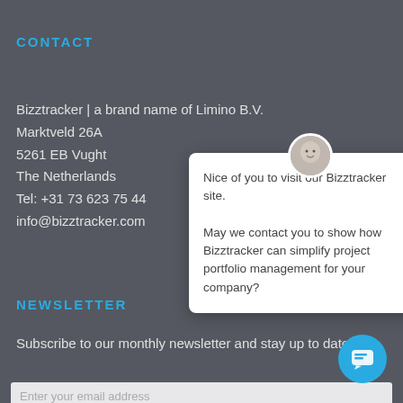CONTACT
Bizztracker | a brand name of Limino B.V.
Marktveld 26A
5261 EB Vught
The Netherlands
Tel: +31 73 623 75 44
info@bizztracker.com
[Figure (other): Chat popup overlay with avatar photo and message: 'Nice of you to visit our Bizztracker site. May we contact you to show how Bizztracker can simplify project portfolio management for your company?']
NEWSLETTER
Subscribe to our monthly newsletter and stay up to date.
Enter your email address